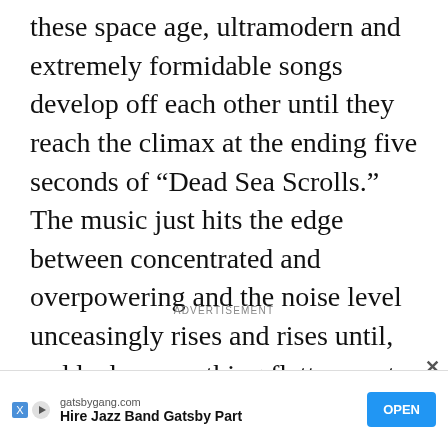these space age, ultramodern and extremely formidable songs develop off each other until they reach the climax at the ending five seconds of “Dead Sea Scrolls.” The music just hits the edge between concentrated and overpowering and the noise level unceasingly rises and rises until, suddenly, everything flattens out into the tranquil “Prophecy Gun.”
ADVERTISEMENT
[Figure (other): Advertisement banner for gatsbygang.com: 'Hire Jazz Band Gatsby Part' with an OPEN button, X and play icons.]